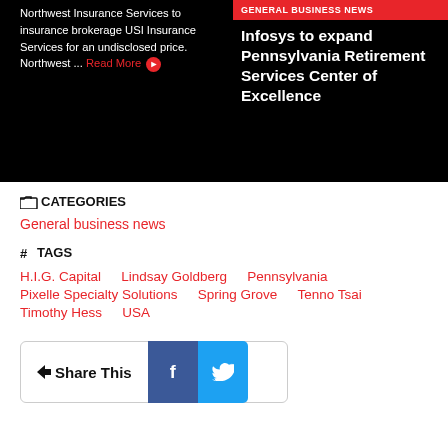Northwest Insurance Services to insurance brokerage USI Insurance Services for an undisclosed price. Northwest ... Read More
GENERAL BUSINESS NEWS
Infosys to expand Pennsylvania Retirement Services Center of Excellence
CATEGORIES
General business news
TAGS
H.I.G. Capital
Lindsay Goldberg
Pennsylvania
Pixelle Specialty Solutions
Spring Grove
Tenno Tsai
Timothy Hess
USA
Share This